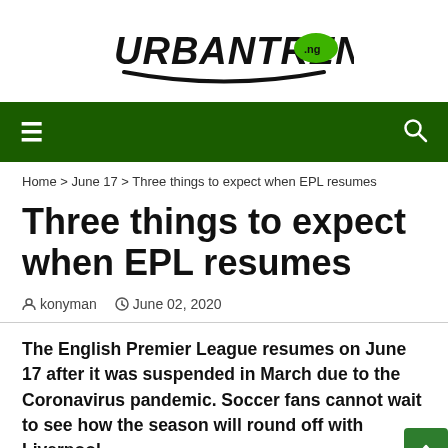URBANTRENDS.ng
≡   🔍
Home › June 17 › Three things to expect when EPL resumes
Three things to expect when EPL resumes
konyman   June 02, 2020
The English Premier League resumes on June 17 after it was suspended in March due to the Coronavirus pandemic. Soccer fans cannot wait to see how the season will round off with Liverpool